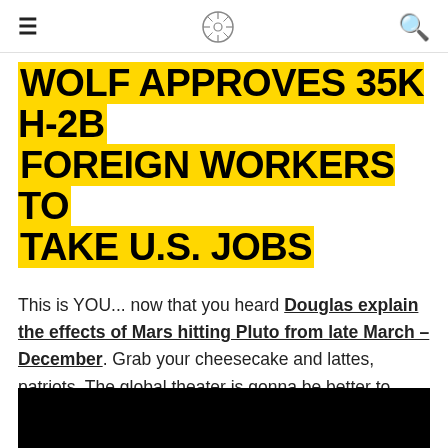≡  [logo]  🔍
WOLF APPROVES 35K H-2B FOREIGN WORKERS TO TAKE U.S. JOBS
This is YOU... now that you heard Douglas explain the effects of Mars hitting Pluto from late March – December. Grab your cheesecake and lattes, patriots. The global theater is gonna be better to follow than anything propaganda television has to offer.
[Figure (photo): Black rectangle at bottom of page, likely a video thumbnail or image placeholder]